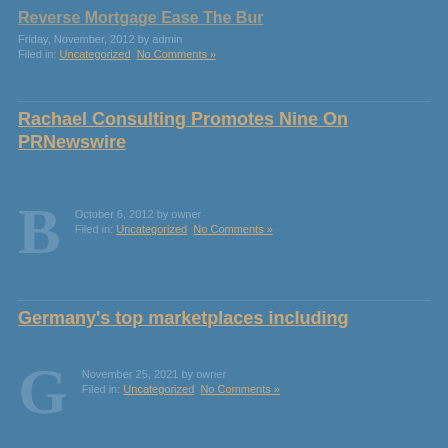Reverse Mortgage Ease The Bur
Filed in: Uncategorized | No Comments »
Rachael Consulting Promotes Nine On PRNewswire
October 6, 2012 by owner
Filed in: Uncategorized | No Comments »
Germany's top marketplaces including
Filed in: Uncategorized | No Comments »